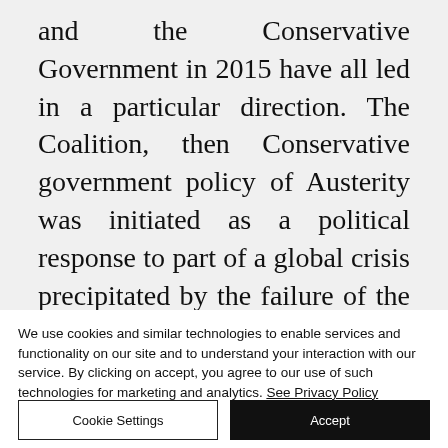and the Conservative Government in 2015 have all led in a particular direction. The Coalition, then Conservative government policy of Austerity was initiated as a political response to part of a global crisis precipitated by the failure of the sub-prime mortgage market in the US and the increase in risky lending activities on the part of some banks and financial
We use cookies and similar technologies to enable services and functionality on our site and to understand your interaction with our service. By clicking on accept, you agree to our use of such technologies for marketing and analytics. See Privacy Policy
Cookie Settings
Accept